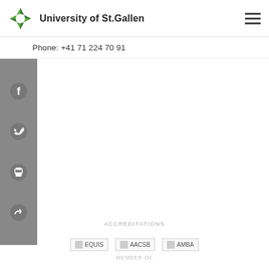University of St.Gallen
Phone: +41 71 224 70 91
[Figure (illustration): Social media sidebar with Facebook, Twitter, Print, and Share icons on grey background]
ACCREDITATIONS
[Figure (logo): EQUIS accreditation logo]
[Figure (logo): AACSB accreditation logo]
[Figure (logo): AMBA accreditation logo]
MEMBER OF